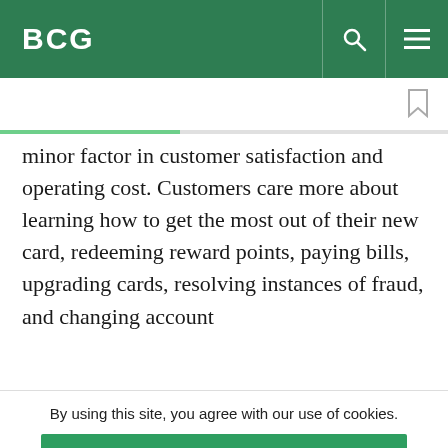BCG
minor factor in customer satisfaction and operating cost. Customers care more about learning how to get the most out of their new card, redeeming reward points, paying bills, upgrading cards, resolving instances of fraud, and changing account
By using this site, you agree with our use of cookies.
I consent to cookies
Want to know more?
Read our Cookie Policy